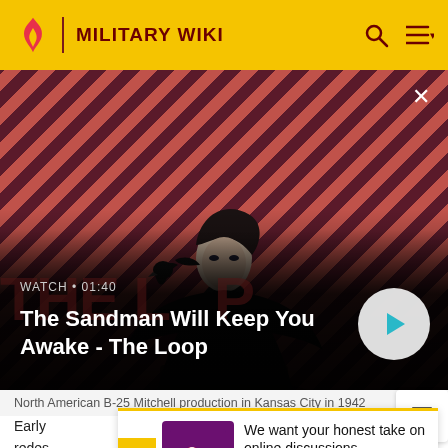MILITARY WIKI
[Figure (screenshot): Video thumbnail banner for 'The Sandman Will Keep You Awake - The Loop' with a dark-cloaked figure with a crow on shoulder against a red diagonal-striped background. Duration shown as WATCH • 01:40 with a play button.]
North American B-25 Mitchell production in Kansas City in 1942
Early... cant redes... d a const...
[Figure (infographic): Survey popup with purple/pink icon showing survey graphic. Text: 'We want your honest take on online discussions'. Link: 'SURVEY: ONLINE FORUMS']